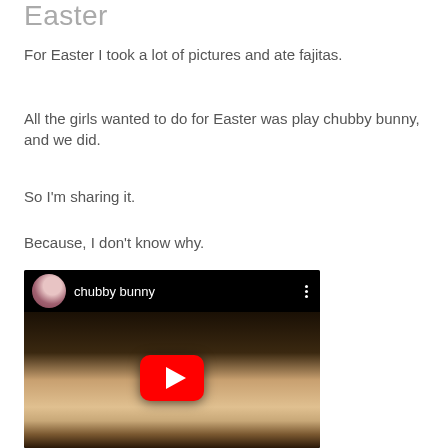Easter
For Easter I took a lot of pictures and ate fajitas.
All the girls wanted to do for Easter was play chubby bunny, and we did.
So I'm sharing it.
Because, I don't know why.
[Figure (screenshot): YouTube video thumbnail showing a woman in a floral top with the title 'chubby bunny' and a red YouTube play button overlay. A circular avatar of a cherry blossom tree is shown in the top left.]